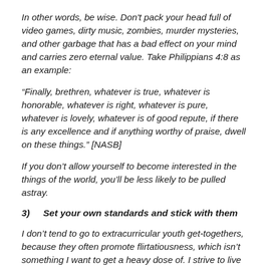In other words, be wise. Don't pack your head full of video games, dirty music, zombies, murder mysteries, and other garbage that has a bad effect on your mind and carries zero eternal value. Take Philippians 4:8 as an example:
“Finally, brethren, whatever is true, whatever is honorable, whatever is right, whatever is pure, whatever is lovely, whatever is of good repute, if there is any excellence and if anything worthy of praise, dwell on these things.” [NASB]
If you don’t allow yourself to become interested in the things of the world, you’ll be less likely to be pulled astray.
3)    Set your own standards and stick with them
I don’t tend to go to extracurricular youth get-togethers, because they often promote flirtatiousness, which isn’t something I want to get a heavy dose of. I strive to live